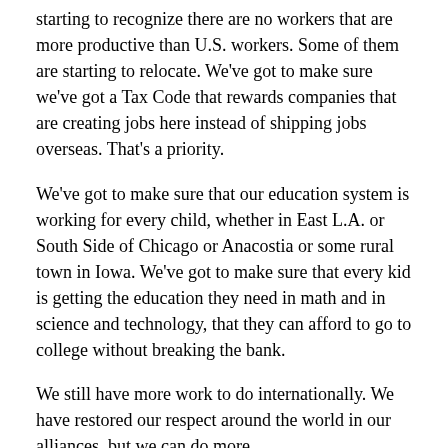starting to recognize there are no workers that are more productive than U.S. workers. Some of them are starting to relocate. We've got to make sure we've got a Tax Code that rewards companies that are creating jobs here instead of shipping jobs overseas. That's a priority.
We've got to make sure that our education system is working for every child, whether in East L.A. or South Side of Chicago or Anacostia or some rural town in Iowa. We've got to make sure that every kid is getting the education they need in math and in science and technology, that they can afford to go to college without breaking the bank.
We still have more work to do internationally. We have restored our respect around the world in our alliances, but we can do more.
And so, in some ways, this election is going to be more important than the last one. We've got to consolidate the great work that we've done, but we've also got to win a basic contest of ideas between us and the other side.